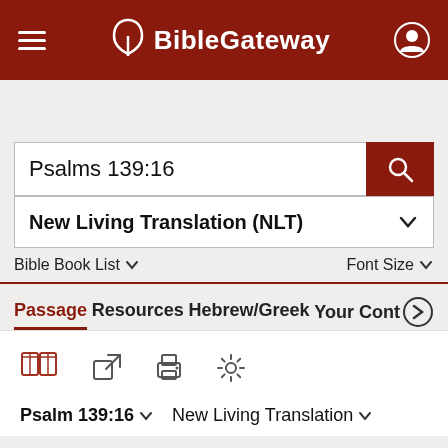BibleGateway
Psalms 139:16
New Living Translation (NLT)
Bible Book List   Font Size
Passage   Resources   Hebrew/Greek   Your Cont
Psalm 139:16   New Living Translation